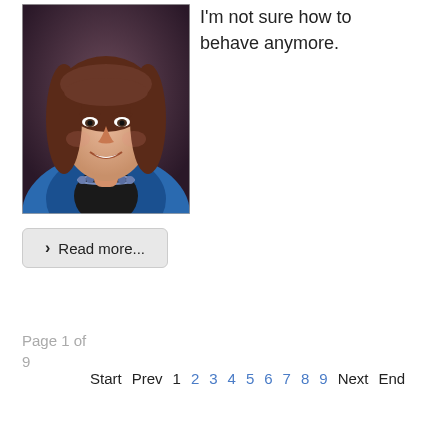[Figure (photo): Professional headshot of a woman with brown hair, wearing a blue jacket and beaded necklace, smiling against a dark background.]
I'm not sure how to behave anymore.
Read more...
Page 1 of 9
Start  Prev  1  2  3  4  5  6  7  8  9  Next  End